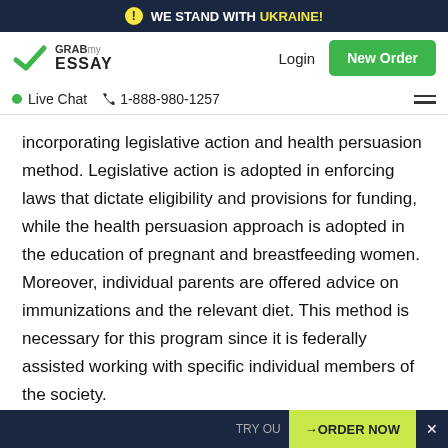WE STAND WITH UKRAINE!
[Figure (logo): GrabMyEssay logo with green checkmark icon]
Login | New Order
Live Chat  1-888-980-1257
incorporating legislative action and health persuasion method. Legislative action is adopted in enforcing laws that dictate eligibility and provisions for funding, while the health persuasion approach is adopted in the education of pregnant and breastfeeding women. Moreover, individual parents are offered advice on immunizations and the relevant diet. This method is necessary for this program since it is federally assisted working with specific individual members of the society.
Need help writing college research paper? Look no
TRY OU  →ORDER NOW  ×